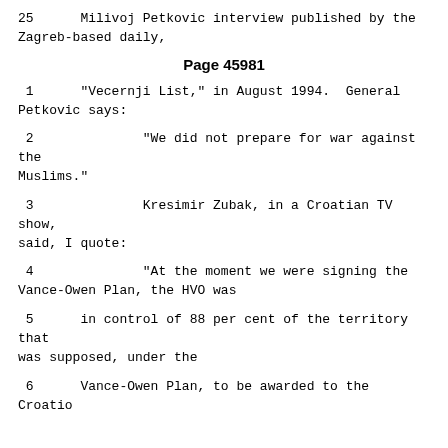25      Milivoj Petkovic interview published by the Zagreb-based daily,
Page 45981
1      "Vecernji List," in August 1994.  General Petkovic says:
2              "We did not prepare for war against the Muslims."
3              Kresimir Zubak, in a Croatian TV show, said, I quote:
4              "At the moment we were signing the Vance-Owen Plan, the HVO was
5      in control of 88 per cent of the territory that was supposed, under the
6      Vance-Owen Plan, to be awarded to the Croatio